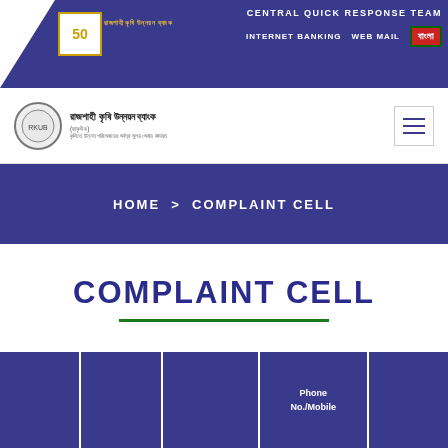CENTRAL QUICK RESPONSE TEAM
INTERNET BANKING   WEB MAIL   বাংলা
[Figure (logo): Rajshahi Krishi Unnayan Bank logo with 50th anniversary badge and Bangla text]
HOME > COMPLAINT CELL
COMPLAINT CELL
| Phone No./Mobile |
| --- |